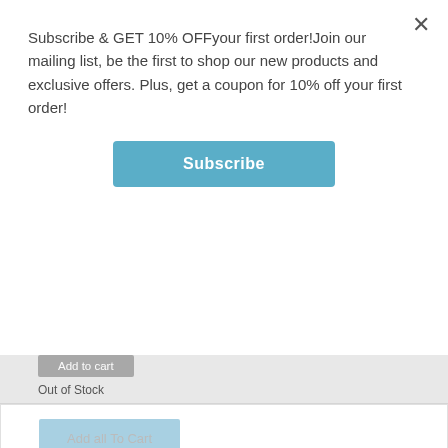Subscribe & GET 10% OFFyour first order!Join our mailing list, be the first to shop our new products and exclusive offers. Plus, get a coupon for 10% off your first order!
Subscribe
Add to cart
Out of Stock
Add all To Cart
Description
Additional information
Reviews (2)